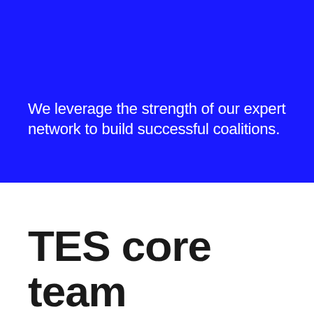We leverage the strength of our expert network to build successful coalitions.
TES core team